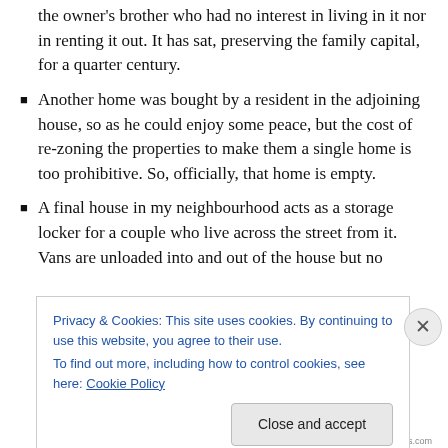the owner's brother who had no interest in living in it nor in renting it out. It has sat, preserving the family capital, for a quarter century.
Another home was bought by a resident in the adjoining house, so as he could enjoy some peace, but the cost of re-zoning the properties to make them a single home is too prohibitive. So, officially, that home is empty.
A final house in my neighbourhood acts as a storage locker for a couple who live across the street from it. Vans are unloaded into and out of the house but no
Privacy & Cookies: This site uses cookies. By continuing to use this website, you agree to their use.
To find out more, including how to control cookies, see here: Cookie Policy